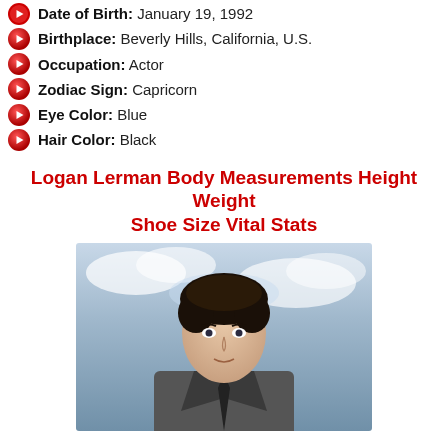Date of Birth: January 19, 1992
Birthplace: Beverly Hills, California, U.S.
Occupation: Actor
Zodiac Sign: Capricorn
Eye Color: Blue
Hair Color: Black
Logan Lerman Body Measurements Height Weight Shoe Size Vital Stats
[Figure (photo): Photo of Logan Lerman in a grey suit with dark tie, against a cloudy sky background]